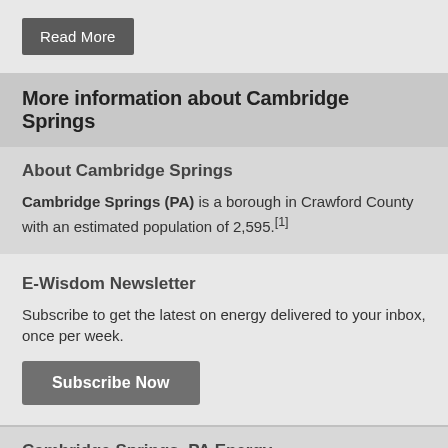Read More
More information about Cambridge Springs
About Cambridge Springs
Cambridge Springs (PA) is a borough in Crawford County with an estimated population of 2,595.[1]
E-Wisdom Newsletter
Subscribe to get the latest on energy delivered to your inbox, once per week.
Subscribe Now
Cambridge Springs, PA Energy